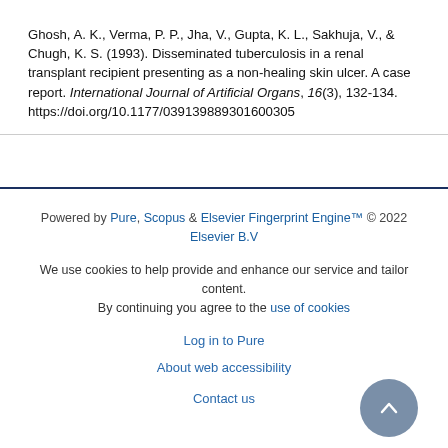Ghosh, A. K., Verma, P. P., Jha, V., Gupta, K. L., Sakhuja, V., & Chugh, K. S. (1993). Disseminated tuberculosis in a renal transplant recipient presenting as a non-healing skin ulcer. A case report. International Journal of Artificial Organs, 16(3), 132-134. https://doi.org/10.1177/039139889301600305
Powered by Pure, Scopus & Elsevier Fingerprint Engine™ © 2022 Elsevier B.V
We use cookies to help provide and enhance our service and tailor content. By continuing you agree to the use of cookies
Log in to Pure
About web accessibility
Contact us